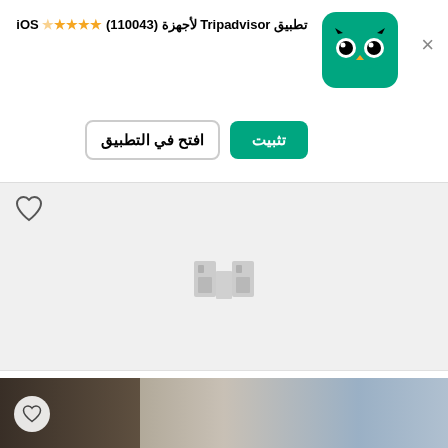[Figure (screenshot): Tripadvisor app install banner with owl logo, install and open buttons, iOS rating with stars]
تطبيق Tripadvisor لأجهزة (110043) ★★★★☆ iOS
تثبيت
افتح في التطبيق
[Figure (illustration): Gray placeholder image area with faint binoculars/building icon in center]
بارات ونوادي الجاز
Live House Zuian 2
●●●●○ 1 تعليق
رقم 3 من 30 أنشطة ترفيهية ليلية في Chiba
[Figure (photo): Bottom strip showing partial photo of a building exterior at night]